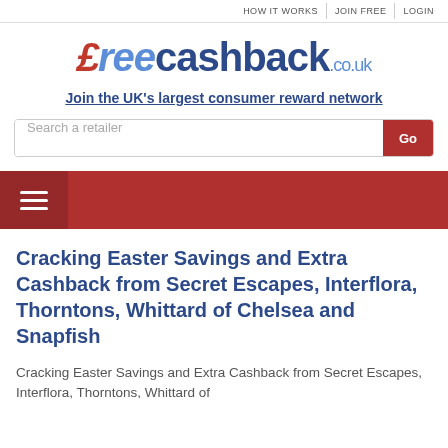HOW IT WORKS | JOIN FREE | Login
[Figure (logo): FreeCashback.co.uk logo with stylized pound sign and swoosh in red, text in blue]
Join the UK's largest consumer reward network
Search a retailer  Go
[Figure (other): Red navigation bar with hamburger menu icon on left]
Cracking Easter Savings and Extra Cashback from Secret Escapes, Interflora, Thorntons, Whittard of Chelsea and Snapfish
Cracking Easter Savings and Extra Cashback from Secret Escapes, Interflora, Thorntons, Whittard of